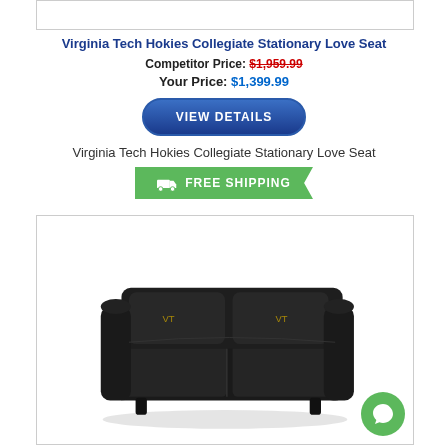[Figure (other): Top partial product card border box]
Virginia Tech Hokies Collegiate Stationary Love Seat
Competitor Price: $1,959.99
Your Price: $1,399.99
[Figure (other): VIEW DETAILS button with dark blue rounded rectangle style]
Virginia Tech Hokies Collegiate Stationary Love Seat
[Figure (other): Green FREE SHIPPING badge with truck icon]
[Figure (photo): Black leather loveseat / stationary love seat with gold team logo embroidery on headrests, on white background inside a bordered card]